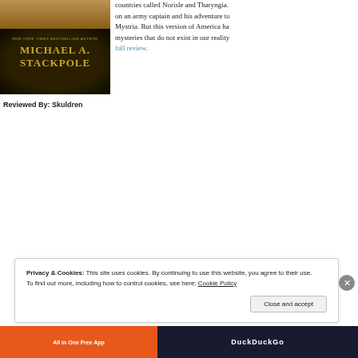[Figure (photo): Book cover of a novel by Michael A. Stackpole showing a fantasy/historical illustration at the top and the author's name in gold letters on a dark patterned background. Text includes 'NEW YORK TIMES BESTSELLING AUTHOR' and 'MICHAEL A. STACKPOLE'.]
countries called Norisle and Tharyngia. on an army captain and his adventure to Mystria. But this version of America ha mysteries that do not exist in our reality full review.
Reviewed By: Skuldren
Privacy & Cookies: This site uses cookies. By continuing to use this website, you agree to their use.
To find out more, including how to control cookies, see here: Cookie Policy
Close and accept